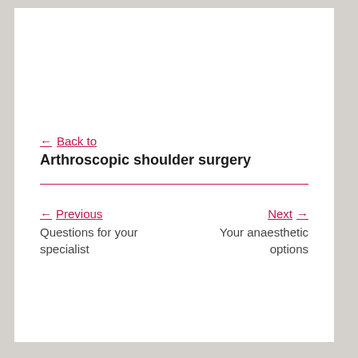← Back to
Arthroscopic shoulder surgery
← Previous
Questions for your specialist
Next →
Your anaesthetic options